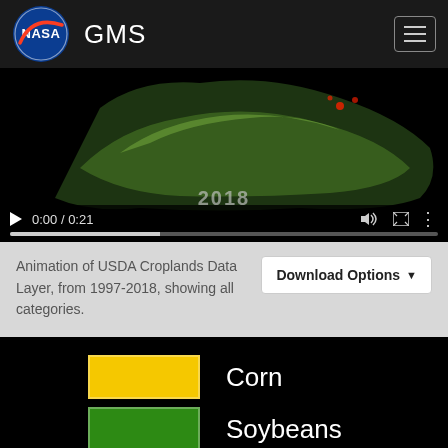NASA GMS
[Figure (screenshot): Video player showing USDA Croplands Data Layer animation, paused at 0:00/0:21, with year label 2018 and progress bar shown]
Animation of USDA Croplands Data Layer, from 1997-2018, showing all categories.
[Figure (illustration): Legend on black background showing three crop categories: Corn (yellow swatch), Soybeans (green swatch), Wheat (golden-brown swatch)]